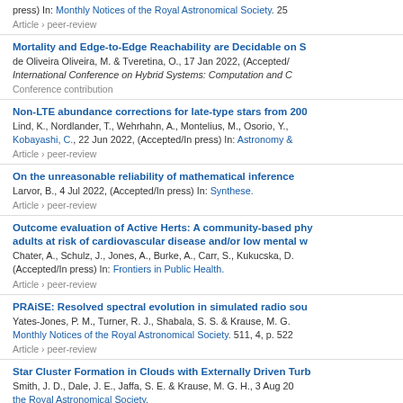press) In: Monthly Notices of the Royal Astronomical Society. 25
Article › peer-review
Mortality and Edge-to-Edge Reachability are Decidable on S
de Oliveira Oliveira, M. & Tveretina, O., 17 Jan 2022, (Accepted/In press) In: International Conference on Hybrid Systems: Computation and C
Conference contribution
Non-LTE abundance corrections for late-type stars from 200
Lind, K., Nordlander, T., Wehrhahn, A., Montelius, M., Osorio, Y., Kobayashi, C., 22 Jun 2022, (Accepted/In press) In: Astronomy &
Article › peer-review
On the unreasonable reliability of mathematical inference
Larvor, B., 4 Jul 2022, (Accepted/In press) In: Synthese.
Article › peer-review
Outcome evaluation of Active Herts: A community-based phy adults at risk of cardiovascular disease and/or low mental w
Chater, A., Schulz, J., Jones, A., Burke, A., Carr, S., Kukucska, D. (Accepted/In press) In: Frontiers in Public Health.
Article › peer-review
PRAiSE: Resolved spectral evolution in simulated radio sou
Yates-Jones, P. M., Turner, R. J., Shabala, S. S. & Krause, M. G. Monthly Notices of the Royal Astronomical Society. 511, 4, p. 522
Article › peer-review
Star Cluster Formation in Clouds with Externally Driven Turb
Smith, J. D., Dale, J. E., Jaffa, S. E. & Krause, M. G. H., 3 Aug 20 the Royal Astronomical Society.
Article › peer-review
Star Formation and AGN Feedback in the Local Universe: Co
Mulcahey, C. R., Leslie, S. K., Jackson, T. M., Young, J. E., Pran Magliocchetti, M., Bonato, M., Röttgering, H. J. A. & Drabent A.